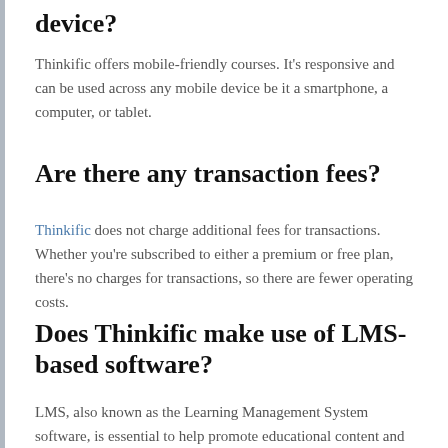device?
Thinkific offers mobile-friendly courses. It's responsive and can be used across any mobile device be it a smartphone, a computer, or tablet.
Are there any transaction fees?
Thinkific does not charge additional fees for transactions. Whether you're subscribed to either a premium or free plan, there's no charges for transactions, so there are fewer operating costs.
Does Thinkific make use of LMS-based software?
LMS, also known as the Learning Management System software, is essential to help promote educational content and training